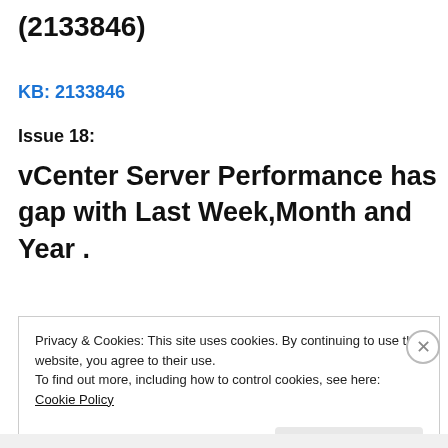(2133846)
KB: 2133846
Issue 18:
vCenter Server Performance has gap with Last Week,Month and Year .
Privacy & Cookies: This site uses cookies. By continuing to use this website, you agree to their use.
To find out more, including how to control cookies, see here: Cookie Policy
Close and accept